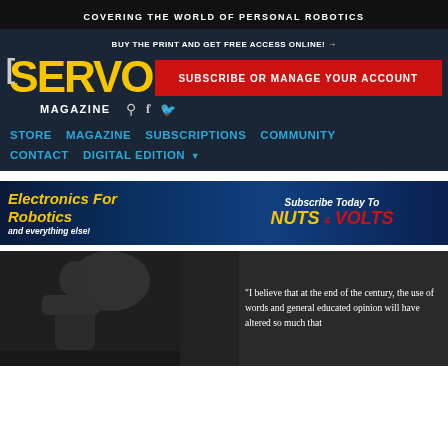COVERING THE WORLD OF PERSONAL ROBOTICS
BUY THE PRINT AND GET FREE ACCESS ONLINE! →
SERVO MAGAZINE
SUBSCRIBE OR MANAGE YOUR ACCOUNT
STORE   MAGAZINE   SUBSCRIPTIONS   COMMUNITY
CONTACT   DIGITAL EDITION ▾
[Figure (infographic): Nuts and Volts magazine advertisement banner: Electronics For Robotics and everything else! Subscribe Today To NUTS AND VOLTS]
[Figure (photo): Black and white photo of a statue of a person hunched over, with text overlay quote beginning: 'I believe that at the end of the century, the use of words and general educated opinion will have altered so much that']